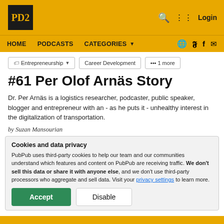PD2 | HOME | PODCASTS | CATEGORIES | Login
Entrepreneurship
Career Development
••• 1 more
#61 Per Olof Arnäs Story
Dr. Per Arnäs is a logistics researcher, podcaster, public speaker, blogger and entrepreneur with an - as he puts it - unhealthy interest in the digitalization of transportation.
by Suzan Mansourian
Cookies and data privacy
PubPub uses third-party cookies to help our team and our communities understand which features and content on PubPub are receiving traffic. We don't sell this data or share it with anyone else, and we don't use third-party processors who aggregate and sell data. Visit your privacy settings to learn more.